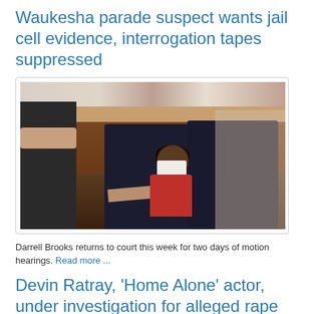Waukesha parade suspect wants jail cell evidence, interrogation tapes suppressed
[Figure (photo): Darrell Brooks seated in a courtroom wearing an orange jumpsuit and white face mask, with dark chairs around him and court staff visible]
Darrell Brooks returns to court this week for two days of motion hearings. Read more ...
Devin Ratray, 'Home Alone' actor, under investigation for alleged rape